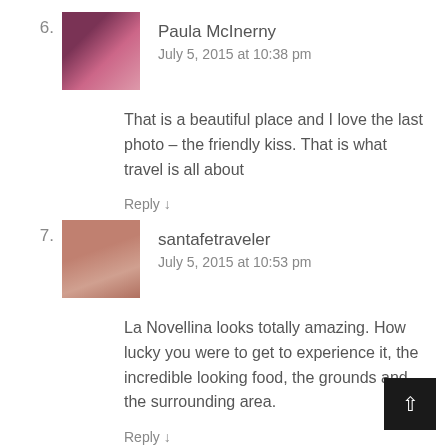6. Paula McInerny – July 5, 2015 at 10:38 pm – That is a beautiful place and I love the last photo – the friendly kiss. That is what travel is all about – Reply ↓
7. santafetraveler – July 5, 2015 at 10:53 pm – La Novellina looks totally amazing. How lucky you were to get to experience it, the incredible looking food, the grounds and the surrounding area. – Reply ↓